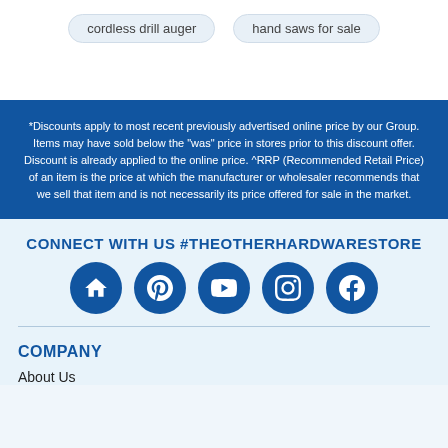cordless drill auger
hand saws for sale
*Discounts apply to most recent previously advertised online price by our Group. Items may have sold below the "was" price in stores prior to this discount offer. Discount is already applied to the online price. ^RRP (Recommended Retail Price) of an item is the price at which the manufacturer or wholesaler recommends that we sell that item and is not necessarily its price offered for sale in the market.
CONNECT WITH US #THEOTHERHARDWARESTORE
[Figure (infographic): Five blue circular social media icons: unknown/home icon, Pinterest, YouTube, Instagram, Facebook]
COMPANY
About Us